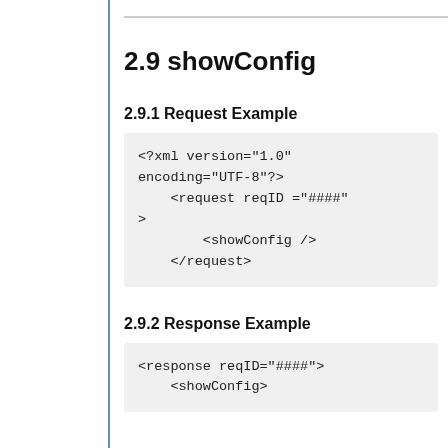2.9 showConfig
2.9.1 Request Example
<?xml version="1.0" encoding="UTF-8"?>
    <request reqID ="####"
>
        <showConfig />
    </request>
2.9.2 Response Example
<response reqID="####">
    <showConfig>